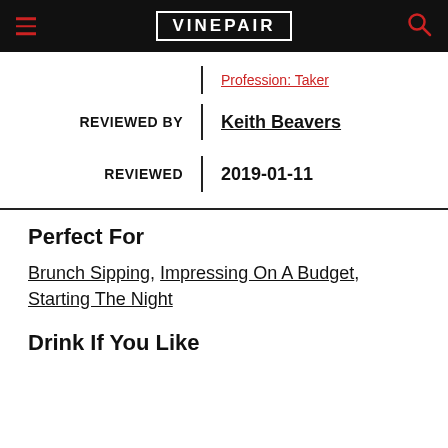VINEPAIR
Profession: Taker
REVIEWED BY | Keith Beavers
REVIEWED | 2019-01-11
Perfect For
Brunch Sipping, Impressing On A Budget, Starting The Night
Drink If You Like